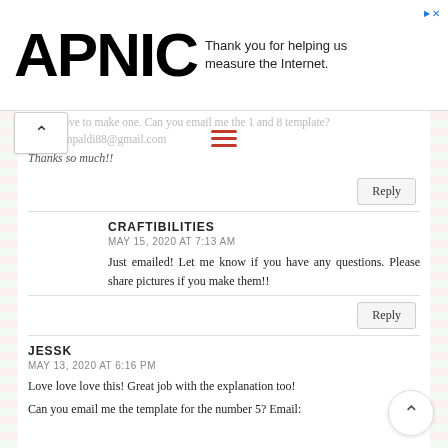APNIC — Thank you for helping us measure the Internet.
...ould love to make one. Can you email me the 1 and 8 template? at alexampaldi88@gmail.com
Thanks so much!!
Reply
CRAFTIBILITIES
MAY 15, 2020 AT 7:13 AM
Just emailed! Let me know if you have any questions. Please share pictures if you make them!!
Reply
JESSK
MAY 13, 2020 AT 6:16 PM
Love love love this! Great job with the explanation too!
Can you email me the template for the number 5? Email: